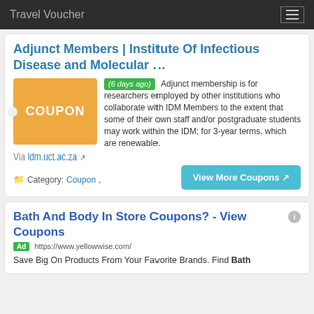Travel Voucher
Adjunct Members | Institute Of Infectious Disease and Molecular …
[Figure (other): Orange coupon box with text COUPON]
(6 days ago) Adjunct membership is for researchers employed by other institutions who collaborate with IDM Members to the extent that some of their own staff and/or postgraduate students may work within the IDM; for 3-year terms, which are renewable.
Via ldm.uct.ac.za
Category: Coupon,
View More Coupons
Bath And Body In Store Coupons? - View Coupons
Ad https://www.yellowwise.com/
Save Big On Products From Your Favorite Brands. Find Bath